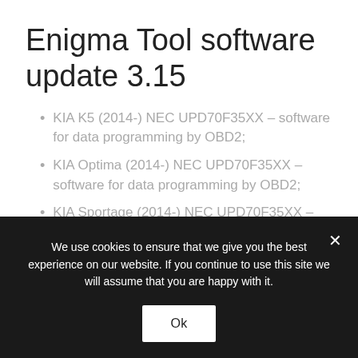Enigma Tool software update 3.15
KIA K5 (2014-) NEC UPD70F35XX – software for data programming by OBD2;
KIA Optima (2014-) NEC UPD70F35XX – software for data programming by OBD2;
KIA Sportage (2014-) NEC UPD70F35XX –
We use cookies to ensure that we give you the best experience on our website. If you continue to use this site we will assume that you are happy with it.